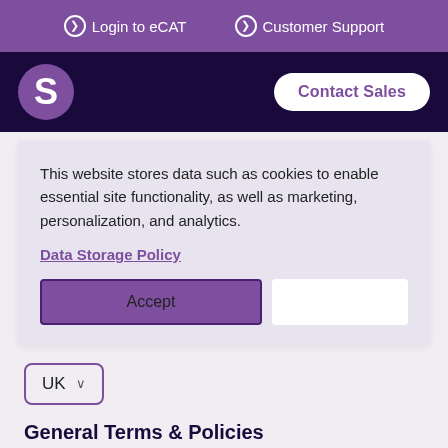Login to eCAT   Customer Support
[Figure (logo): S logo circle in purple on dark navy navigation bar with Contact Sales button]
This website stores data such as cookies to enable essential site functionality, as well as marketing, personalization, and analytics.
Data Storage Policy
Accept
UK
General Terms & Policies